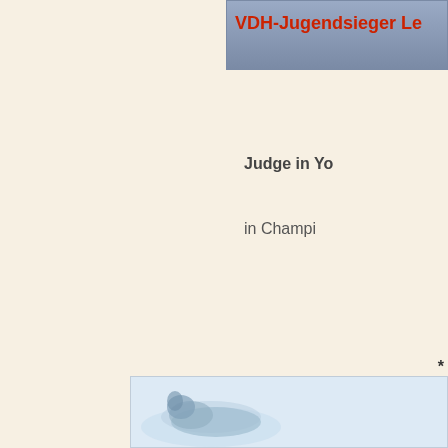[Figure (photo): Partial banner/image showing red text 'VDH-Jugendsieger Le' on a grey/blue background, cropped at right edge, positioned at top right]
Judge in Yo
in Champi
*
Vaca
[Figure (photo): Partial photo at bottom showing a dog (appears to be light-colored/blue-grey) on a light background, cropped at right edge]